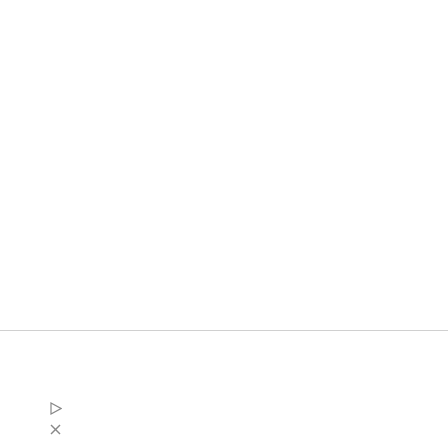[Figure (other): Advertisement banner: CVS Pharmacy logo (red square with heart and text 'CVS pharmacy'), text 'CVS® Epic Beauty Sale' in bold with 'CVS' in blue below, and a blue diamond-shaped navigation/arrow icon on the right. Below the ad are two small control icons (play triangle and close X).]